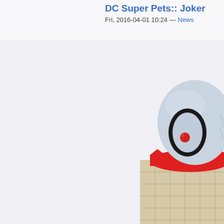DC Super Pets:: Joker...
Fri, 2016-04-01 10:24 — News
[Figure (photo): Close-up of a plush toy resembling the Joker character from DC Super Pets. The plush has a pale blue/grey head with a black oval eye outline and a red dot pupil, red lips/collar area, and a beige/tan body with a grid/scale pattern. The figure is partially cropped at the right and bottom edges.]